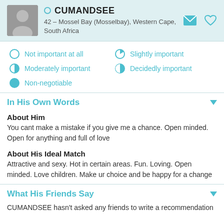CUMANDSEE – 42 – Mossel Bay (Mosselbay), Western Cape, South Africa
Not important at all
Slightly important
Moderately important
Decidedly important
Non-negotiable
In His Own Words
About Him
You cant make a mistake if you give me a chance. Open minded. Open for anything and full of love
About His Ideal Match
Attractive and sexy. Hot in certain areas. Fun. Loving. Open minded. Love children. Make ur choice and be happy for a change
What His Friends Say
CUMANDSEE hasn't asked any friends to write a recommendation